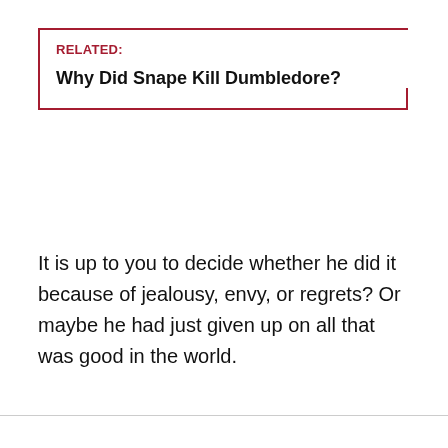RELATED:
Why Did Snape Kill Dumbledore?
It is up to you to decide whether he did it because of jealousy, envy, or regrets? Or maybe he had just given up on all that was good in the world.